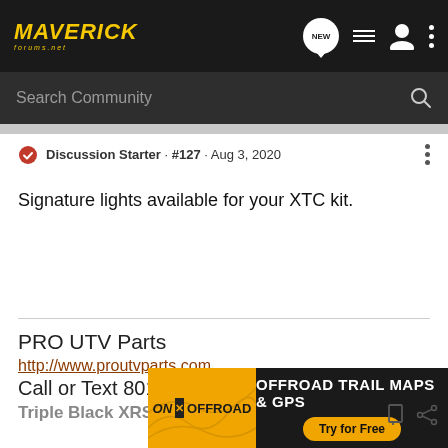MAVERICK forums.net — navigation bar with NEW, list, user, and menu icons; Search Community search bar
Discussion Starter · #127 · Aug 3, 2020
Signature lights available for your XTC kit.
PRO UTV Parts
http://www.proutvparts.com
Call or Text 801 367 1395
Triple Black XRS 🙂🙂🙂
[Figure (screenshot): ON X OFFROAD advertisement banner — OFFROAD TRAIL MAPS & GPS, Try for Free button]